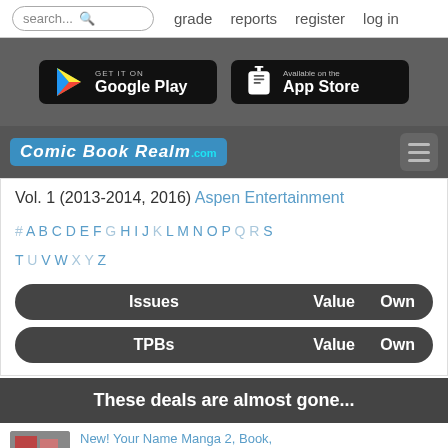search... grade reports register log in
[Figure (screenshot): Google Play and App Store download buttons on dark banner]
[Figure (logo): Comic Book Realm .com logo with hamburger menu]
Vol. 1 (2013-2014, 2016) Aspen Entertainment
# A B C D E F G H I J K L M N O P Q R S T U V W X Y Z
| Issues | Value | Own |
| --- | --- | --- |
| TPBs | Value | Own |
| --- | --- | --- |
These deals are almost gone...
New! Your Name Manga 2, Book,
$10.99 | Ends: 9/1 10:12 pm